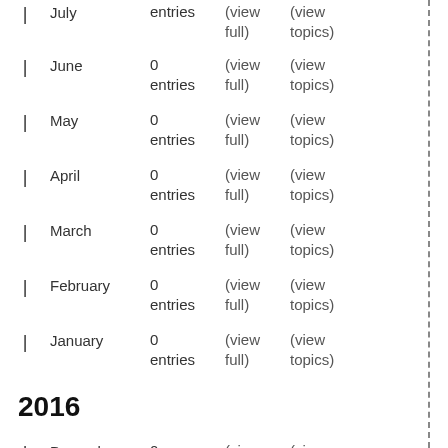| July  0 entries  (view full)  (view topics)
| June  0 entries  (view full)  (view topics)
| May  0 entries  (view full)  (view topics)
| April  0 entries  (view full)  (view topics)
| March  0 entries  (view full)  (view topics)
| February  0 entries  (view full)  (view topics)
| January  0 entries  (view full)  (view topics)
2016
| December  0 entries  (view full)  (view topics)
| November  0 entries  (view full)  (view topics)
0  (view  (view